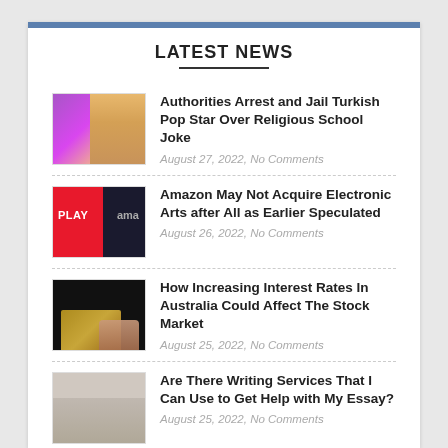LATEST NEWS
Authorities Arrest and Jail Turkish Pop Star Over Religious School Joke | August 27, 2022, No Comments
Amazon May Not Acquire Electronic Arts after All as Earlier Speculated | August 26, 2022, No Comments
How Increasing Interest Rates In Australia Could Affect The Stock Market | August 25, 2022, No Comments
Are There Writing Services That I Can Use to Get Help with My Essay? | August 25, 2022, No Comments